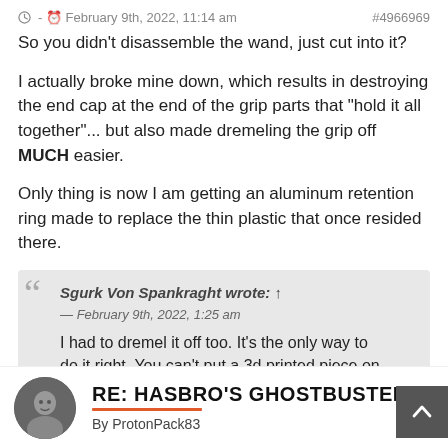- February 9th, 2022, 11:14 am   #4966969
So you didn't disassemble the wand, just cut into it?
I actually broke mine down, which results in destroying the end cap at the end of the grip parts that "hold it all together"... but also made dremeling the grip off MUCH easier.
Only thing is now I am getting an aluminum retention ring made to replace the thin plastic that once resided there.
Sgurk Von Spankraght wrote: ↑
— February 9th, 2022, 1:25 am
I had to dremel it off too. It's the only way to do it right. You can't put a 3d printed piece on there because it'll just look weird.
RE: HASBRO'S GHOSTBUSTERS PL
By ProtonPack83